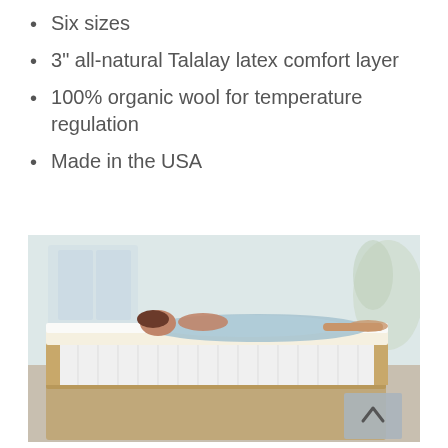Six sizes
3" all-natural Talalay latex comfort layer
100% organic wool for temperature regulation
Made in the USA
[Figure (photo): Woman lying face-down on a mattress with a cross-section cutaway showing the latex comfort layer over spring coils, in a bright bedroom setting. A scroll-up button is visible in the bottom right corner.]